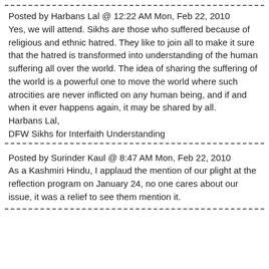Posted by Harbans Lal @ 12:22 AM Mon, Feb 22, 2010
Yes, we will attend. Sikhs are those who suffered because of religious and ethnic hatred. They like to join all to make it sure that the hatred is transformed into understanding of the human suffering all over the world. The idea of sharing the suffering of the world is a powerful one to move the world where such atrocities are never inflicted on any human being, and if and when it ever happens again, it may be shared by all.
Harbans Lal,
DFW Sikhs for Interfaith Understanding
Posted by Surinder Kaul @ 8:47 AM Mon, Feb 22, 2010
As a Kashmiri Hindu, I applaud the mention of our plight at the reflection program on January 24, no one cares about our issue, it was a relief to see them mention it.